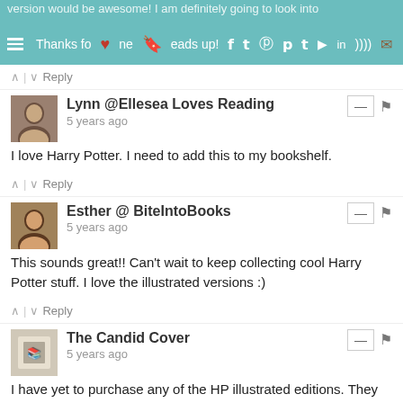version would be awesome! I am definitely going to look into
Thanks for the heads up!
Reply
Lynn @Ellesea Loves Reading
5 years ago
I love Harry Potter. I need to add this to my bookshelf.
Reply
Esther @ BiteIntoBooks
5 years ago
This sounds great!! Can't wait to keep collecting cool Harry Potter stuff. I love the illustrated versions :)
Reply
The Candid Cover
5 years ago
I have yet to purchase any of the HP illustrated editions. They really are quite beautiful and I am sure that the FB one will be really cool with the image of all the different beasts. This might be one that I will have to add to my collection as well! :)